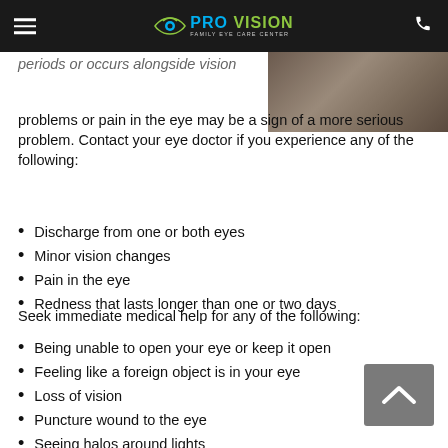PRO VISION FAMILY EYE CARE CENTER
[Figure (photo): Partial photo of a person, visible in upper right corner]
periods or occurs alongside vision problems or pain in the eye may be a sign of a more serious problem. Contact your eye doctor if you experience any of the following:
Discharge from one or both eyes
Minor vision changes
Pain in the eye
Redness that lasts longer than one or two days
Seek immediate medical help for any of the following:
Being unable to open your eye or keep it open
Feeling like a foreign object is in your eye
Loss of vision
Puncture wound to the eye
Seeing halos around lights